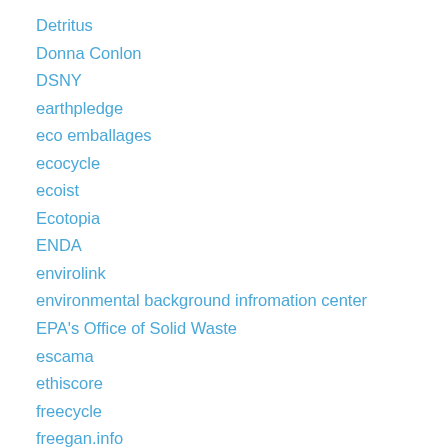Detritus
Donna Conlon
DSNY
earthpledge
eco emballages
ecocycle
ecoist
Ecotopia
ENDA
envirolink
environmental background infromation center
EPA's Office of Solid Waste
escama
ethiscore
freecycle
freegan.info
garbage reincarnation, inc.
garbage scout (NYC)
global recycling network
gothamist